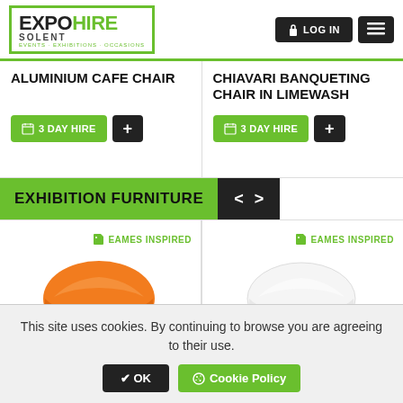[Figure (logo): Expo Hire Solent logo with green bracket border and tagline EVENTS · EXHIBITIONS · OCCASIONS]
LOG IN
ALUMINIUM CAFE CHAIR
3 DAY HIRE
CHIAVARI BANQUETING CHAIR IN LIMEWASH
3 DAY HIRE
EXHIBITION FURNITURE
EAMES INSPIRED
[Figure (photo): Orange Eames-inspired chair with wooden legs]
EAMES INSPIRED
[Figure (photo): White Eames-inspired chair with wooden legs]
This site uses cookies. By continuing to browse you are agreeing to their use.
✔ OK
Cookie Policy